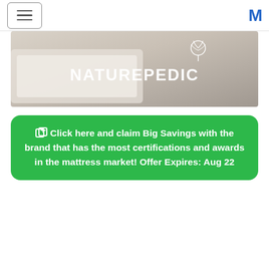☰ M
[Figure (photo): Naturepedic brand banner image showing a light-colored mattress/furniture in a neutral beige room, with the Naturepedic logo (leaf/plant icon) and wordmark 'NATUREPEDIC' in white text on the right side]
Click here and claim Big Savings with the brand that has the most certifications and awards in the mattress market! Offer Expires: Aug 22